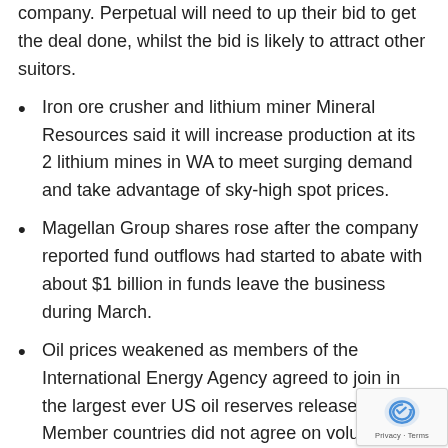company. Perpetual will need to up their bid to get the deal done, whilst the bid is likely to attract other suitors.
Iron ore crusher and lithium miner Mineral Resources said it will increase production at its 2 lithium mines in WA to meet surging demand and take advantage of sky-high spot prices.
Magellan Group shares rose after the company reported fund outflows had started to abate with about $1 billion in funds leave the business during March.
Oil prices weakened as members of the International Energy Agency agreed to join in the largest ever US oil reserves release. Member countries did not agree on volumes or commitments of each country at their meeting. The move comes after OPEC+ stuck with their planned production increase amid calls for them